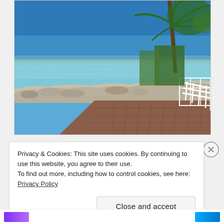[Figure (photo): A coastal boardwalk/promenade with brick paving, white railing on the right side, rocky shoreline to the left, calm turquoise sea, and palm trees in the upper right corner under a clear blue sky.]
Privacy & Cookies: This site uses cookies. By continuing to use this website, you agree to their use.
To find out more, including how to control cookies, see here: Privacy Policy